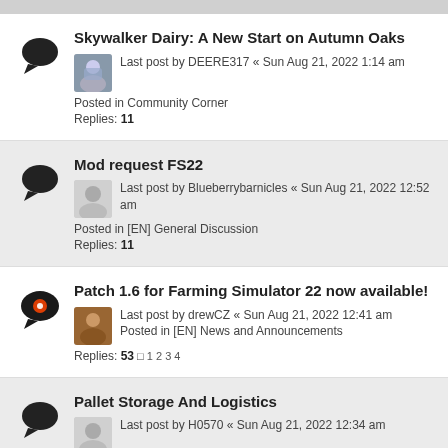Skywalker Dairy: A New Start on Autumn Oaks
Last post by DEERE317 « Sun Aug 21, 2022 1:14 am
Posted in Community Corner
Replies: 11
Mod request FS22
Last post by Blueberrybarnicles « Sun Aug 21, 2022 12:52 am
Posted in [EN] General Discussion
Replies: 11
Patch 1.6 for Farming Simulator 22 now available!
Last post by drewCZ « Sun Aug 21, 2022 12:41 am
Posted in [EN] News and Announcements
Replies: 53  1 2 3 4
Pallet Storage And Logistics
Last post by H0570 « Sun Aug 21, 2022 12:34 am